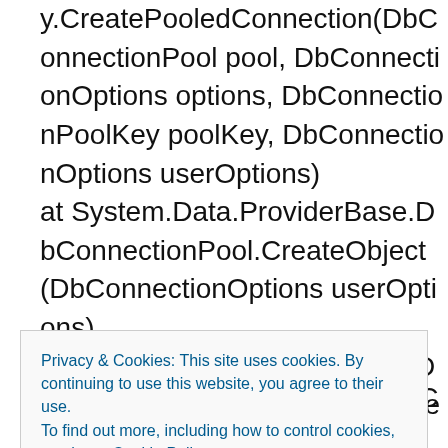y.CreatePooledConnection(DbConnectionPool pool, DbConnectionOptions options, DbConnectionPoolKey poolKey, DbConnectionOptions userOptions) at System.Data.ProviderBase.DbConnectionPool.CreateObject(DbConnectionOptions userOptions) at System.Data.ProviderBase.DbConnectionPool.UserCreateRequest(DbConnectionOptions
Privacy & Cookies: This site uses cookies. By continuing to use this website, you agree to their use.
To find out more, including how to control cookies, see here: Cookie Policy
Close and accept
allowCreate, Boolean onlyOneCheckConnection